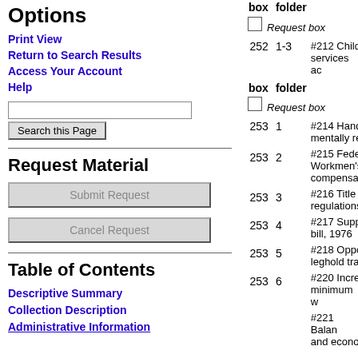Options
Print View
Return to Search Results
Access Your Account
Help
Search this Page
Request Material
Submit Request
Cancel Request
Table of Contents
Descriptive Summary
Collection Description
Administrative Information
| box | folder |  |
| --- | --- | --- |
|  | Request box |  |
| 252 | 1-3 | #212 Child services ac |
| box | folder |  |
|  | Request box |  |
| 253 | 1 | #214 Hand mentally re |
| 253 | 2 | #215 Fede Workmen's compensa |
| 253 | 3 | #216 Title regulations |
| 253 | 4 | #217 Supp bill, 1976 |
| 253 | 5 | #218 Oppo leghold tra |
| 253 | 6 | #220 Incre minimum w |
|  |  | #221 Balan and econo |